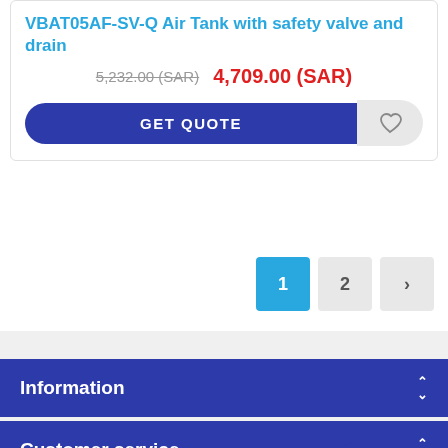VBAT05AF-SV-Q Air Tank with safety valve and drain
5,232.00 (SAR)  4,709.00 (SAR)
GET QUOTE
1  2  >
Information
Customer service
Message